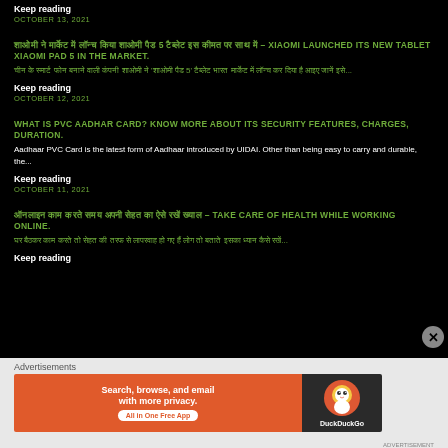Keep reading
OCTOBER 13, 2021
शाओमी ने मार्केट में लॉन्च किया शाओमी पैड 5 टैब्लेट इस कीमत पर साथ में – XIAOMI LAUNCHED ITS NEW TABLET XIAOMI PAD 5 IN THE MARKET.
चीन के स्मार्ट फोन बनाने वाली कंपनी शाओमी ने 'शाओमी पैड 5' टैब्लेट भारत मार्केट में लॉन्च कर दिया है आइए जानें इसे...
Keep reading
OCTOBER 12, 2021
WHAT IS PVC AADHAR CARD? KNOW MORE ABOUT ITS SECURITY FEATURES, CHARGES, DURATION.
Aadhaar PVC Card is the latest form of Aadhaar introduced by UIDAI. Other than being easy to carry and durable, the...
Keep reading
OCTOBER 11, 2021
ऑनलाइन काम करते समय अपनी सेहत का ऐसे रखें ख्याल – TAKE CARE OF HEALTH WHILE WORKING ONLINE.
घर बैठकर काम करते तो सेहत की तरफ से लापरवाह हो गए हैं लोग तो बताते इसका ध्यान कैसे रखें...
Keep reading
Advertisements
[Figure (infographic): DuckDuckGo advertisement banner: orange section with 'Search, browse, and email with more privacy. All in One Free App' and dark section with DuckDuckGo logo]